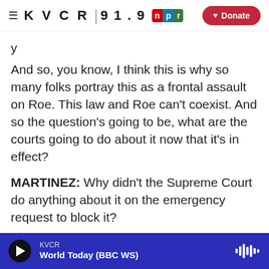≡ KVCR 91.9 NPR | Donate
And so, you know, I think this is why so many folks portray this as a frontal assault on Roe. This law and Roe can't coexist. And so the question's going to be, what are the courts going to do about it now that it's in effect?
MARTINEZ: Why didn't the Supreme Court do anything about it on the emergency request to block it?
VLADECK: Yeah, I mean, it's a great question. I think, you know, the best defense of the justices,
KVCR — World Today (BBC WS)